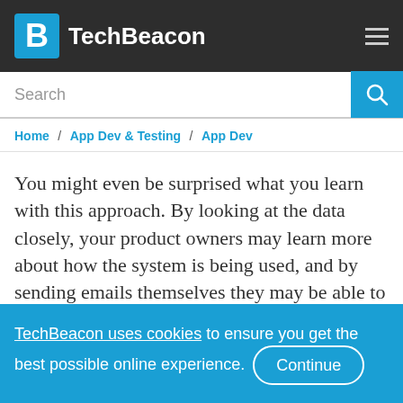TechBeacon
Home / App Dev & Testing / App Dev
You might even be surprised what you learn with this approach. By looking at the data closely, your product owners may learn more about how the system is being used, and by sending emails themselves they may be able to build some
TechBeacon uses cookies to ensure you get the best possible online experience. Continue